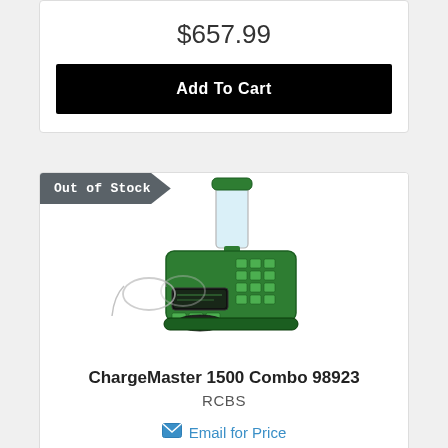$657.99
Add To Cart
Out of Stock
[Figure (photo): Product photo of a dark green RCBS ChargeMaster 1500 Combo powder scale and dispenser with a clear hopper on top and a digital display, shown with safety glasses leaning against it.]
ChargeMaster 1500 Combo 98923
RCBS
Email for Price